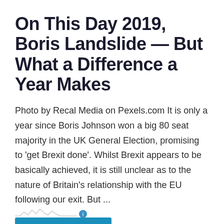On This Day 2019, Boris Landslide — But What a Difference a Year Makes
Photo by Recal Media on Pexels.com It is only a year since Boris Johnson won a big 80 seat majority in the UK General Election, promising to 'get Brexit done'. Whilst Brexit appears to be basically achieved, it is still unclear as to the nature of Britain's relationship with the EU following our exit. But ...
Continue reading